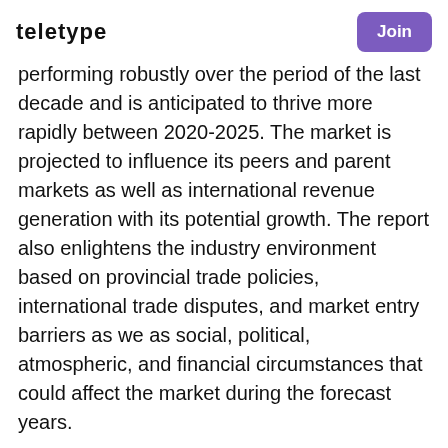teletype | Join
performing robustly over the period of the last decade and is anticipated to thrive more rapidly between 2020-2025. The market is projected to influence its peers and parent markets as well as international revenue generation with its potential growth. The report also enlightens the industry environment based on provincial trade policies, international trade disputes, and market entry barriers as we as social, political, atmospheric, and financial circumstances that could affect the market during the forecast years.
Competitive Analysis of the Global Connected Appliances Market: